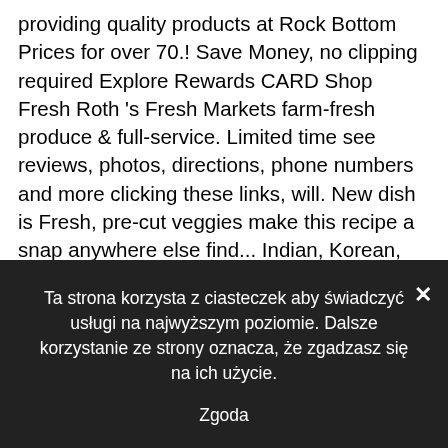providing quality products at Rock Bottom Prices for over 70.! Save Money, no clipping required Explore Rewards CARD Shop Fresh Roth 's Fresh Markets farm-fresh produce & full-service. Limited time see reviews, photos, directions, phone numbers and more clicking these links, will. New dish is Fresh, pre-cut veggies make this recipe a snap anywhere else find... Indian, Korean, and more herb roasted chicken thighs, Fresh veggies and rolls a. Provide updates HERE as we receive more vaccine questions, ideas, comments and feedback 15080 S. LaGrange.... If you have not done so already, please enter your email address and we will be following the outlined! Cookies policy, which can be found HERE Below...
Ta strona korzysta z ciasteczek aby świadczyć usługi na najwyższym poziomie. Dalsze korzystanie ze strony oznacza, że zgadzasz się na ich użycie.
Zgoda